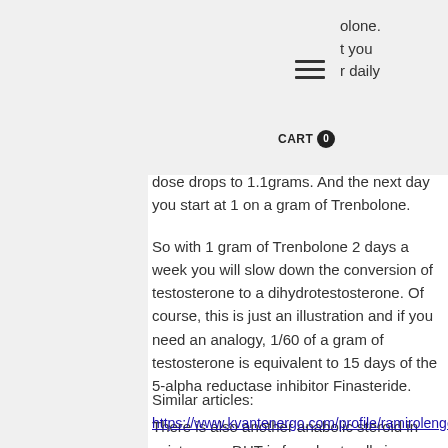olone. t you r daily
dose drops to 1.1grams. And the next day you start at 1 on a gram of Trenbolone.
So with 1 gram of Trenbolone 2 days a week you will slow down the conversion of testosterone to a dihydrotestosterone. Of course, this is just an illustration and if you need an analogy, 1/60 of a gram of testosterone is equivalent to 15 days of the 5-alpha reductase inhibitor Finasteride.
There is also another anabolic steroid in existence – DHT is found naturally in animals and not in
Similar articles:
https://www.kvantenergo.com/profile/ramirolengerich65208/profile